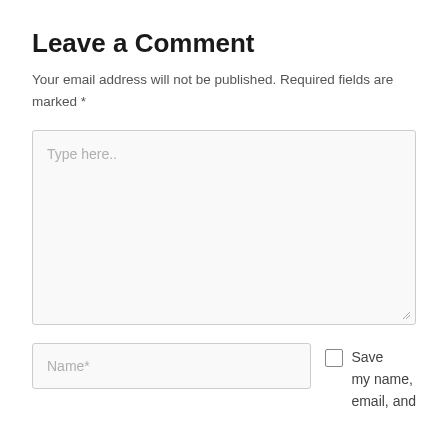Leave a Comment
Your email address will not be published. Required fields are marked *
[Figure (screenshot): Large text area input box with placeholder text 'Type here..' and resize handle in bottom-right corner]
[Figure (screenshot): Name input field with placeholder 'Name*' alongside a checkbox with text 'Save my name, email, and']